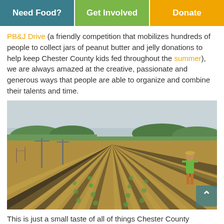Need Food? | Get Involved | Donate
PB&J Drive (a friendly competition that mobilizes hundreds of people to collect jars of peanut butter and jelly donations to help keep Chester County kids fed throughout the summer), we are always amazed at the creative, passionate and generous ways that people are able to organize and combine their talents and time.
[Figure (photo): A farm field with long rows of young crops planted in black plastic mulch over straw, converging to a vanishing point. A person in a green shirt and hat stands to the right. Power line poles and trees visible in the background under an overcast sky.]
This is just a small taste of all of things Chester County